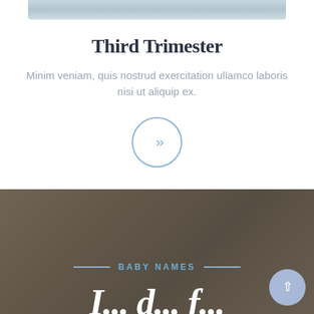[Figure (photo): Partial view of a photo strip at top of page, showing a light blue-gray image (likely a pregnancy or baby related photo)]
Third Trimester
Minim veniam, quis nostrud exercitation ullamco laboris nisi ut aliquip ex.
[Figure (illustration): Circle button with double right chevron (>>) in light blue outline style]
[Figure (photo): Dark brownish-gray blurred background photo occupying the bottom section of the page]
BABY NAMES
I... d... f...